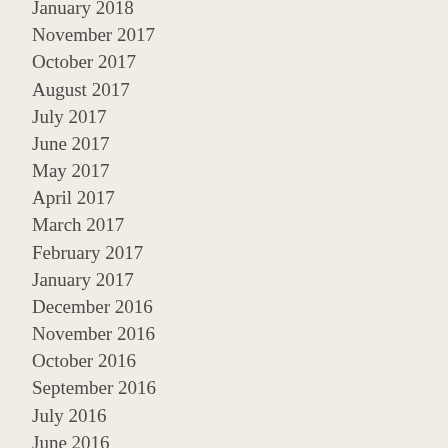January 2018
November 2017
October 2017
August 2017
July 2017
June 2017
May 2017
April 2017
March 2017
February 2017
January 2017
December 2016
November 2016
October 2016
September 2016
July 2016
June 2016
May 2016
April 2016
February 2016